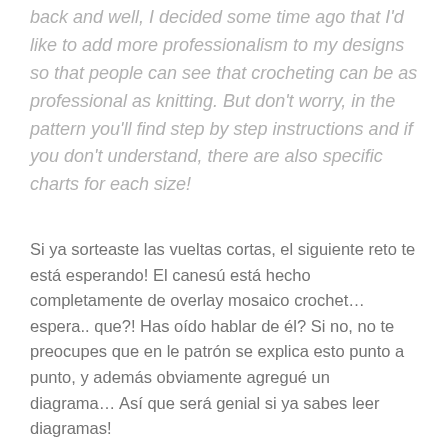back and well, I decided some time ago that I'd like to add more professionalism to my designs so that people can see that crocheting can be as professional as knitting. But don't worry, in the pattern you'll find step by step instructions and if you don't understand, there are also specific charts for each size!
Si ya sorteaste las vueltas cortas, el siguiente reto te está esperando! El canesú está hecho completamente de overlay mosaico crochet… espera.. que?! Has oído hablar de él? Si no, no te preocupes que en le patrón se explica esto punto a punto, y además obviamente agregué un diagrama… Así que será genial si ya sabes leer diagramas!
El overlay mosaico crochet, es otro tipo de mosaico.. (cada día aparecen técnicas nuevas en crochet y eso